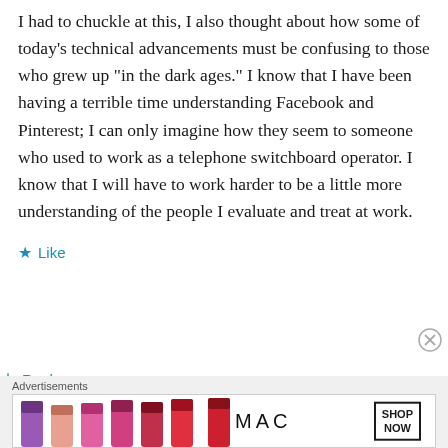I had to chuckle at this, I also thought about how some of today’s technical advancements must be confusing to those who grew up “in the dark ages.” I know that I have been having a terrible time understanding Facebook and Pinterest; I can only imagine how they seem to someone who used to work as a telephone switchboard operator. I know that I will have to work harder to be a little more understanding of the people I evaluate and treat at work.
★ Like
↵ Reply
Advertisements
[Figure (photo): MAC Cosmetics advertisement banner showing colorful lipsticks (purple, peach, pink, red) on the left, MAC logo in the center, and a SHOP NOW button on the right.]